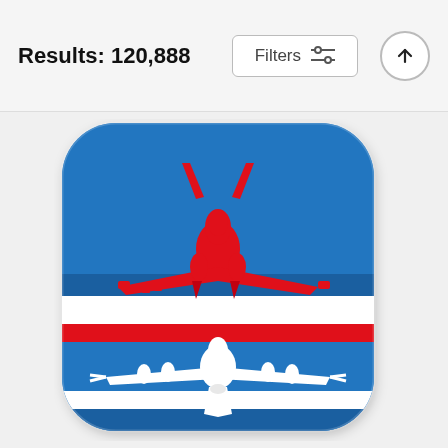Results: 120,888
[Figure (photo): A decorative throw pillow with a blue background featuring red and white fighter jet/aircraft silhouettes arranged in a graphic stripe pattern. The top half shows a red fighter jet (front view) on a blue background with horizontal stripes, and the bottom half shows a white aircraft silhouette on blue with white stripe details.]